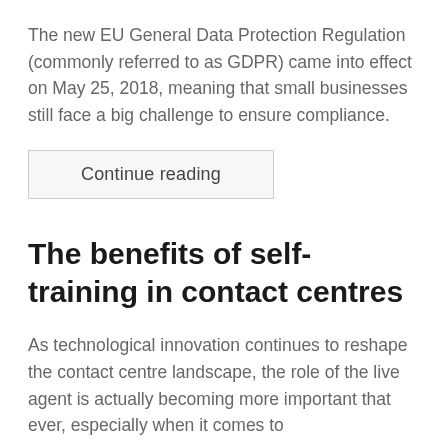The new EU General Data Protection Regulation (commonly referred to as GDPR) came into effect on May 25, 2018, meaning that small businesses still face a big challenge to ensure compliance.
Continue reading
The benefits of self-training in contact centres
As technological innovation continues to reshape the contact centre landscape, the role of the live agent is actually becoming more important that ever, especially when it comes to